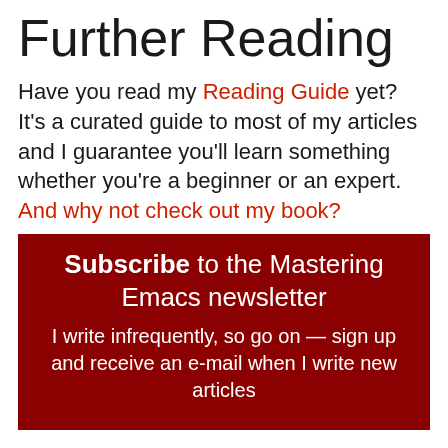Further Reading
Have you read my Reading Guide yet? It's a curated guide to most of my articles and I guarantee you'll learn something whether you're a beginner or an expert. And why not check out my book?
Subscribe to the Mastering Emacs newsletter
I write infrequently, so go on — sign up and receive an e-mail when I write new articles